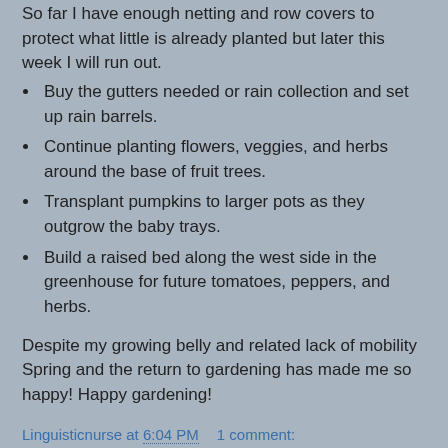So far I have enough netting and row covers to protect what little is already planted but later this week I will run out.
Buy the gutters needed or rain collection and set up rain barrels.
Continue planting flowers, veggies, and herbs around the base of fruit trees.
Transplant pumpkins to larger pots as they outgrow the baby trays.
Build a raised bed along the west side in the greenhouse for future tomatoes, peppers, and herbs.
Despite my growing belly and related lack of mobility Spring and the return to gardening has made me so happy! Happy gardening!
Linguisticnurse at 6:04 PM   1 comment:
Share